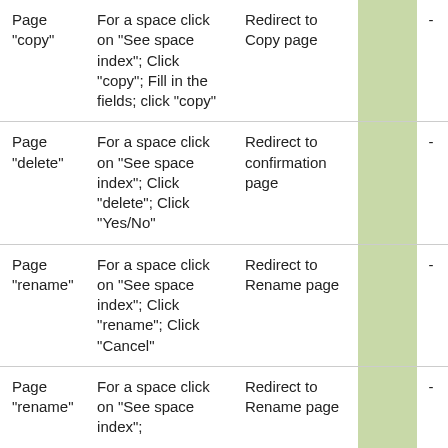| Page "copy" | For a space click on "See space index"; Click "copy"; Fill in the fields; click "copy" | Redirect to Copy page |  | - |
| Page "delete" | For a space click on "See space index"; Click "delete"; Click "Yes/No" | Redirect to confirmation page |  | - |
| Page "rename" | For a space click on "See space index"; Click "rename"; Click "Cancel" | Redirect to Rename page |  | - |
| Page "rename" | For a space click on "See space index"; | Redirect to Rename page |  | - |